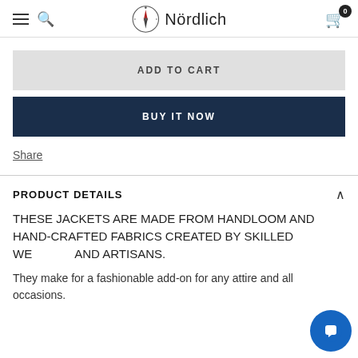Nördlich
ADD TO CART
BUY IT NOW
Share
PRODUCT DETAILS
THESE JACKETS ARE MADE FROM HANDLOOM AND HAND-CRAFTED FABRICS CREATED BY SKILLED WEAVERS AND ARTISANS.
They make for a fashionable add-on for any attire and all occasions.